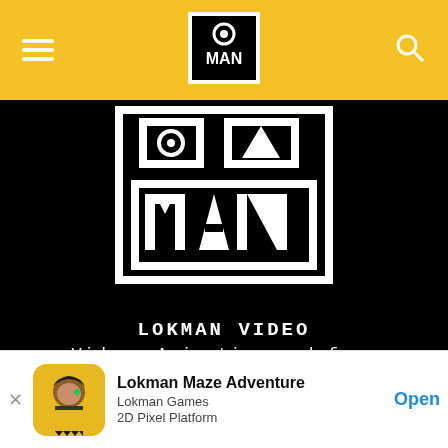[Figure (logo): Lokman Video website header with yellow background, hamburger menu icon on left, Lokman logo in center, search icon on right]
[Figure (screenshot): Black hero banner showing large pixelated LOKMAN logo graphic with white block letters on black background, with text 'LOKMAN VIDEO' and 'Video, Animation and fun.' in monospace white font]
We use cookies on our website to give you the most relevant experience by remembering your preferences and repeat visits. By clicking “Accept”, you consent to the use of ALL the cookies.
Do not sell my personal information
[Figure (screenshot): App store banner at bottom: Lokman Maze Adventure app icon (character with yellow outfit), app name 'Lokman Maze Adventure', developer 'Lokman Games', category '2D Pixel Platform', with Open button in blue]